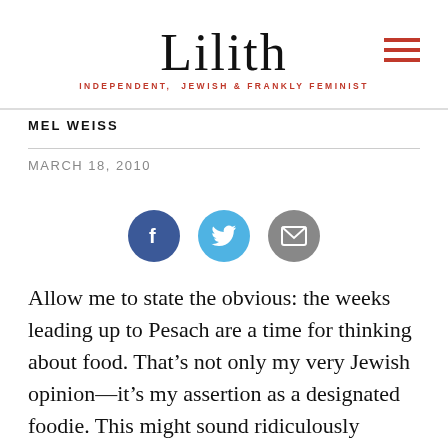Lilith — INDEPENDENT, JEWISH & FRANKLY FEMINIST
MEL WEISS
MARCH 18, 2010
[Figure (infographic): Three social sharing buttons: Facebook (dark blue circle with f icon), Twitter (light blue circle with bird icon), Email (gray circle with envelope icon)]
Allow me to state the obvious: the weeks leading up to Pesach are a time for thinking about food. That's not only my very Jewish opinion—it's my assertion as a designated foodie. This might sound ridiculously obvious, but the case deserves to be made anew: